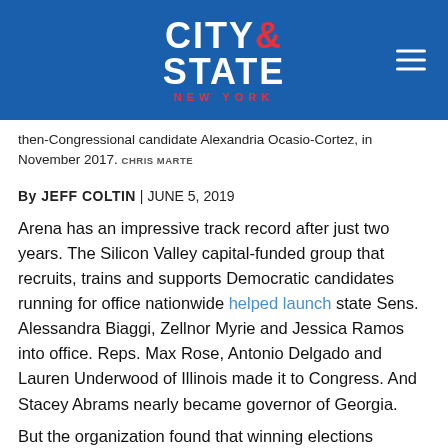[Figure (logo): City & State New York logo on blue background with hamburger menu icon]
then-Congressional candidate Alexandria Ocasio-Cortez, in November 2017. CHRIS MARTE
By JEFF COLTIN | JUNE 5, 2019
Arena has an impressive track record after just two years. The Silicon Valley capital-funded group that recruits, trains and supports Democratic candidates running for office nationwide helped launch state Sens. Alessandra Biaggi, Zellnor Myrie and Jessica Ramos into office. Reps. Max Rose, Antonio Delgado and Lauren Underwood of Illinois made it to Congress. And Stacey Abrams nearly became governor of Georgia.
But the organization found that winning elections